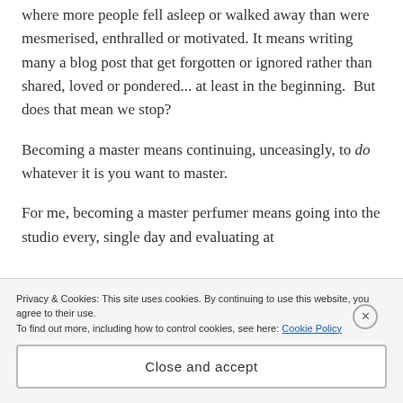where more people fell asleep or walked away than were mesmerised, enthralled or motivated. It means writing many a blog post that get forgotten or ignored rather than shared, loved or pondered... at least in the beginning.  But does that mean we stop?
Becoming a master means continuing, unceasingly, to do whatever it is you want to master.
For me, becoming a master perfumer means going into the studio every, single day and evaluating at
Privacy & Cookies: This site uses cookies. By continuing to use this website, you agree to their use.
To find out more, including how to control cookies, see here: Cookie Policy
Close and accept